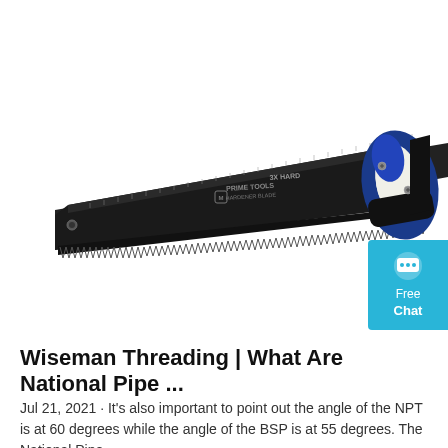[Figure (photo): A hand saw with a dark/black blade featuring measurement markings and teeth along the bottom edge, and a blue and black ergonomic handle on the right side. The blade has printed text and logos. A blue chat widget badge is visible on the right edge.]
Wiseman Threading | What Are National Pipe ...
Jul 21, 2021 · It's also important to point out the angle of the NPT is at 60 degrees while the angle of the BSP is at 55 degrees. The National Pipe